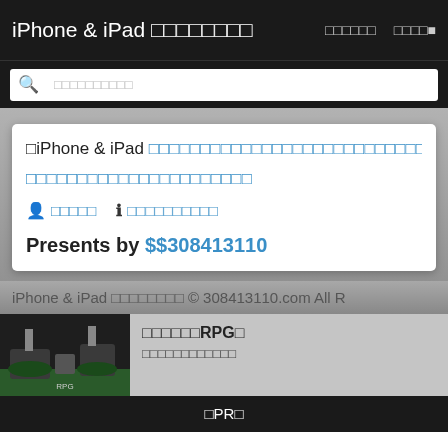iPhone & iPad □□□□□□□□   □□□□□□   □□□□▾
□□□□□□□□□□ (search placeholder)
□iPhone & iPad □□□□□□□□□□□□□□□□□□□□□□□□□□□□□□□□□□□□□□□□□□□□□□ □□□□□□□□□□□□□□□□□□□□□
👤 □□□□□   ℹ □□□□□□□□□□
Presents by $$308413110
iPhone & iPad □□□□□□□□ © 308413110.com All R
□□□□□□RPG□  □□□□□□□□□□□□
□PR□